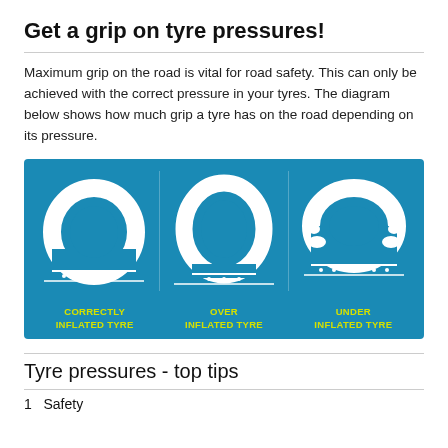Get a grip on tyre pressures!
Maximum grip on the road is vital for road safety. This can only be achieved with the correct pressure in your tyres. The diagram below shows how much grip a tyre has on the road depending on its pressure.
[Figure (infographic): Three tyre cross-section diagrams on a teal/blue background showing: CORRECTLY INFLATED TYRE (flat bottom, even contact), OVER INFLATED TYRE (small center contact patch), UNDER INFLATED TYRE (wide flat contact on sides). Labels in yellow-green bold text beneath each tyre illustration.]
Tyre pressures - top tips
1   Safety